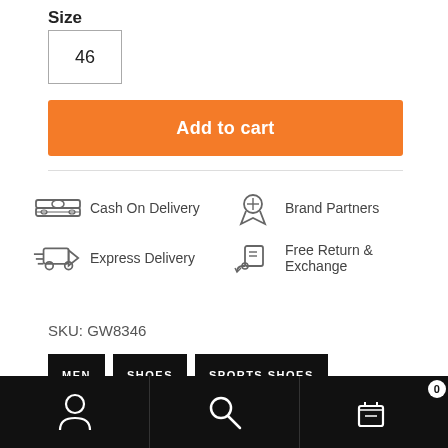Size
46
Add to cart
[Figure (infographic): Feature icons: Cash On Delivery, Brand Partners, Express Delivery, Free Return & Exchange]
SKU: GW8346
MEN
SHOES
SPORTS SHOES
[Figure (infographic): Bottom navigation bar with user, search, and cart icons]